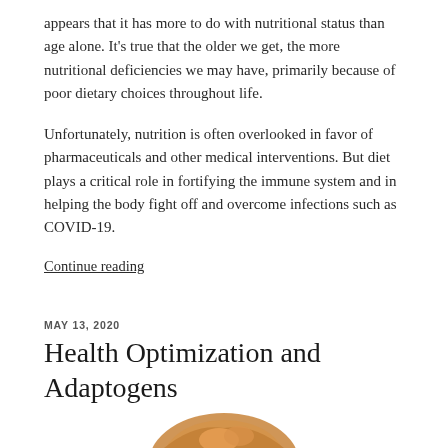appears that it has more to do with nutritional status than age alone. It's true that the older we get, the more nutritional deficiencies we may have, primarily because of poor dietary choices throughout life.
Unfortunately, nutrition is often overlooked in favor of pharmaceuticals and other medical interventions. But diet plays a critical role in fortifying the immune system and in helping the body fight off and overcome infections such as COVID-19.
Continue reading
MAY 13, 2020
Health Optimization and Adaptogens
[Figure (photo): Partial image of a food item (appears to be a baked or roasted item) visible at the bottom of the page]